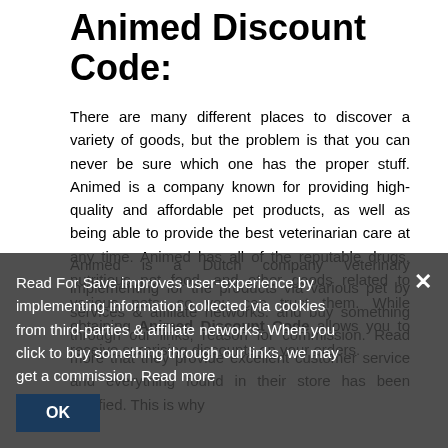Animed Discount Code:
There are many different places to discover a variety of goods, but the problem is that you can never be sure which one has the proper stuff. Animed is a company known for providing high-quality and affordable pet products, as well as being able to provide the best veterinarian care at any time. Animed has all of the reputable drugs, nutritious pet food, and other goods related to various pets, so you can trust them. While obtaining Animed Discount Code allows you to receive surprising discounts on your orders.
Animed is a Dutch company veterinary implementing for the products via various pet by services & affiliate networks. and buy something through our links, reason for commission. Read more that they provide excellent customer service and everything found in their store has been certified. This is why
Read For Save improves user-experience by implementing information collected via cookies from third-parties & affiliate networks. When you click to buy something through our links, we may get a commission. Read more